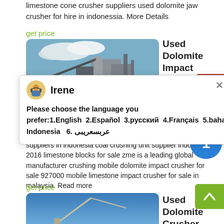limestone cone crusher suppliers used dolomite jaw crusher for hire in indonessia. More Details
get price
[Figure (photo): Industrial crusher/mining equipment facility with conveyor belts and industrial buildings under blue sky with clouds]
Used Dolomite Impact Crusher Suppliers In Indonessia
suppliers in indonesia coal crushing unit supplier indonesia 2016 limestone blocks for sale zme is a leading global manufacturer crushing mobile dolomite impact crusher for sale 927000 mobile limestone impact crusher for sale in malaysia. Read more
get price
[Figure (screenshot): Chat popup with avatar of Irene, asking user to choose language: 1.English 2.Español 3.русский 4.Français 5.bahasa Indonesia 6. عربسعريبى]
[Figure (photo): Blue sky with construction/crane equipment visible at bottom]
Used Dolomite Crusher Suppliers Indonessia